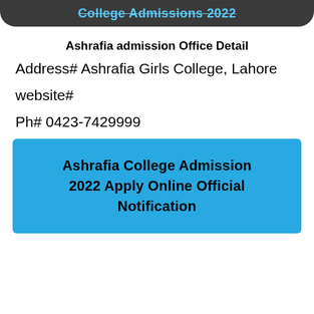College Admissions 2022
Ashrafia admission Office Detail
Address# Ashrafia Girls College, Lahore
website#
Ph# 0423-7429999
Ashrafia College Admission 2022 Apply Online Official Notification